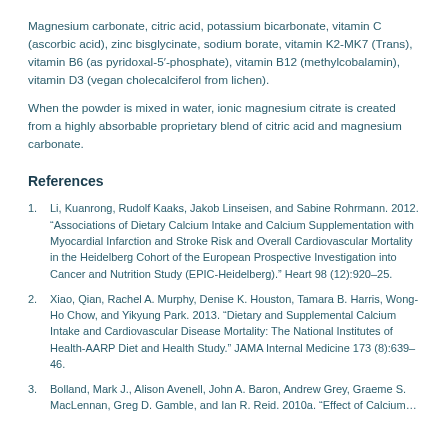Magnesium carbonate, citric acid, potassium bicarbonate, vitamin C (ascorbic acid), zinc bisglycinate, sodium borate, vitamin K2-MK7 (Trans), vitamin B6 (as pyridoxal-5'-phosphate), vitamin B12 (methylcobalamin), vitamin D3 (vegan cholecalciferol from lichen).
When the powder is mixed in water, ionic magnesium citrate is created from a highly absorbable proprietary blend of citric acid and magnesium carbonate.
References
Li, Kuanrong, Rudolf Kaaks, Jakob Linseisen, and Sabine Rohrmann. 2012. “Associations of Dietary Calcium Intake and Calcium Supplementation with Myocardial Infarction and Stroke Risk and Overall Cardiovascular Mortality in the Heidelberg Cohort of the European Prospective Investigation into Cancer and Nutrition Study (EPIC-Heidelberg).” Heart 98 (12):920–25.
Xiao, Qian, Rachel A. Murphy, Denise K. Houston, Tamara B. Harris, Wong-Ho Chow, and Yikyung Park. 2013. “Dietary and Supplemental Calcium Intake and Cardiovascular Disease Mortality: The National Institutes of Health-AARP Diet and Health Study.” JAMA Internal Medicine 173 (8):639–46.
Bolland, Mark J., Alison Avenell, John A. Baron, Andrew Grey, Graeme S. MacLennan, Greg D. Gamble, and Ian R. Reid. 2010a. “Effect of Calcium...